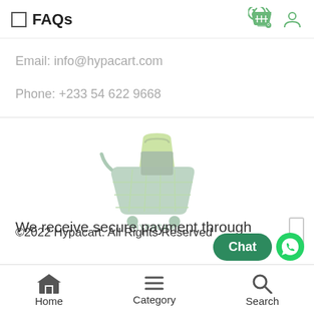FAQs
Email: info@hypacart.com
Phone:  +233 54 622 9668
[Figure (logo): Hypacart shopping cart logo watermark]
We receive secure payment through
©2022 Hypacart. All Rights Reserved
Home   Category   Search